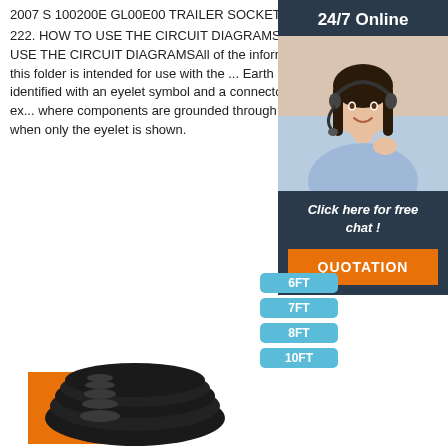2007 S 100200E GL00E00 TRAILER SOCKET.... 222. HOW TO USE THE CIRCUIT DIAGRAMS 5 HOW TO USE THE CIRCUIT DIAGRAMSAll of the information in this folder is intended for use with the ... Earth points are identified with an eyelet symbol and a connector number, ex... where components are grounded through ... fixings, when only the eyelet is shown.
[Figure (infographic): Customer service widget with '24/7 Online' header, photo of woman with headset, 'Click here for free chat!' text, and orange QUOTATION button]
[Figure (other): Orange 'Get Price' button]
[Figure (infographic): Product length badges showing 6FT, 7FT, 8FT, 10FT in blue pill shapes]
[Figure (photo): Black cable/wire coil product image at bottom of page]